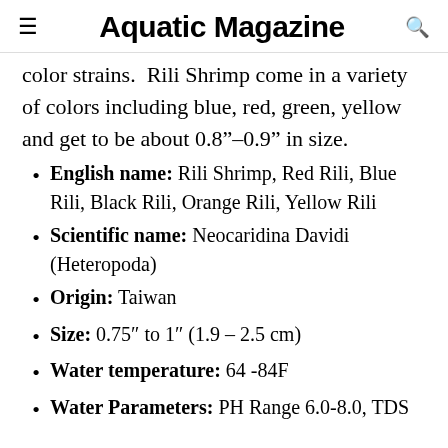Aquatic Magazine
color strains. Rili Shrimp come in a variety of colors including blue, red, green, yellow and get to be about 0.8”-0.9” in size.
English name: Rili Shrimp, Red Rili, Blue Rili, Black Rili, Orange Rili, Yellow Rili
Scientific name: Neocaridina Davidi (Heteropoda)
Origin: Taiwan
Size: 0.75″ to 1″ (1.9 – 2.5 cm)
Water temperature: 64 -84F
Water Parameters: PH Range 6.0-8.0, TDS